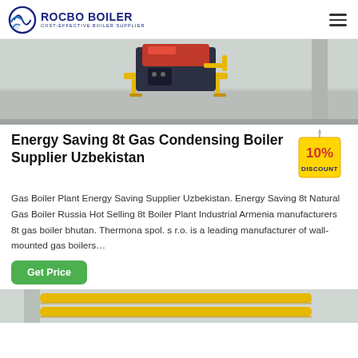[Figure (logo): Rocbo Boiler logo with crescent/globe icon and text 'ROCBO BOILER / COST-EFFECTIVE BOILER SUPPLIER']
[Figure (photo): Industrial boiler equipment on a factory floor, red and dark colored unit on yellow hand truck/pallet jack, gray concrete floor]
Energy Saving 8t Gas Condensing Boiler Supplier Uzbekistan
[Figure (illustration): 10% DISCOUNT badge/tag in red and yellow]
Gas Boiler Plant Energy Saving Supplier Uzbekistan. Energy Saving 8t Natural Gas Boiler Russia Hot Selling 8t Boiler Plant Industrial Armenia manufacturers 8t gas boiler bhutan. Thermona spol. s r.o. is a leading manufacturer of wall-mounted gas boilers…
Get Price
[Figure (photo): Partial view of yellow industrial piping or boiler components, bottom of page]